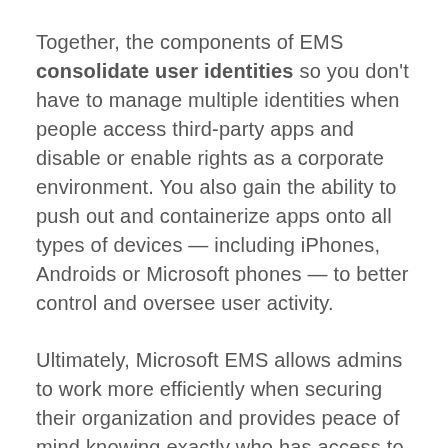Together, the components of EMS consolidate user identities so you don't have to manage multiple identities when people access third-party apps and disable or enable rights as a corporate environment. You also gain the ability to push out and containerize apps onto all types of devices — including iPhones, Androids or Microsoft phones — to better control and oversee user activity.
Ultimately, Microsoft EMS allows admins to work more efficiently when securing their organization and provides peace of mind knowing exactly who has access to which documents and apps, on which devices and from where.